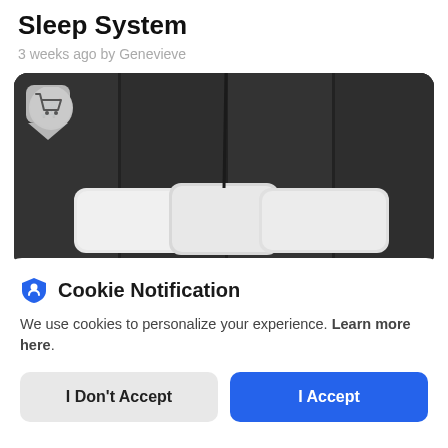Sleep System
3 weeks ago by Genevieve
[Figure (photo): Dark upholstered headboard with three white pillows, with a shopping cart icon badge in the upper left corner]
Cookie Notification
We use cookies to personalize your experience. Learn more here.
I Don't Accept | I Accept